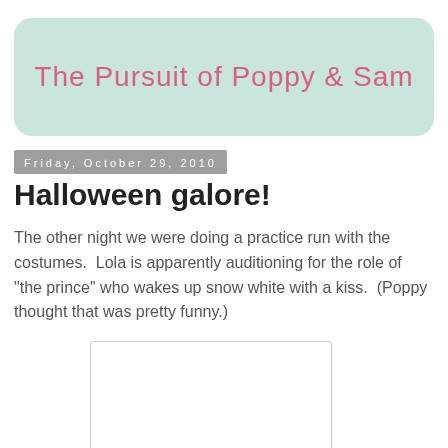The Pursuit of Poppy & Sam
Friday, October 29, 2010
Halloween galore!
The other night we were doing a practice run with the costumes.  Lola is apparently auditioning for the role of "the prince" who wakes up snow white with a kiss.  (Poppy thought that was pretty funny.)
[Figure (photo): Photo placeholder — white rectangle with light border]